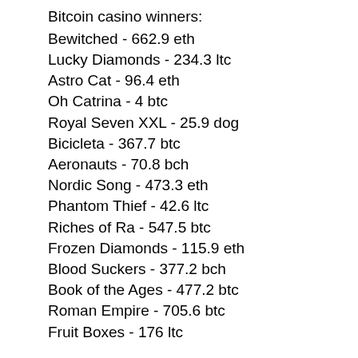Bitcoin casino winners:
Bewitched - 662.9 eth
Lucky Diamonds - 234.3 ltc
Astro Cat - 96.4 eth
Oh Catrina - 4 btc
Royal Seven XXL - 25.9 dog
Bicicleta - 367.7 btc
Aeronauts - 70.8 bch
Nordic Song - 473.3 eth
Phantom Thief - 42.6 ltc
Riches of Ra - 547.5 btc
Frozen Diamonds - 115.9 eth
Blood Suckers - 377.2 bch
Book of the Ages - 477.2 btc
Roman Empire - 705.6 btc
Fruit Boxes - 176 ltc
Popular Table Games:
Mars Casino Roman Legion
Bitcasino.io Cleopatra
Cloudbet Casino Valley of Pharaohs